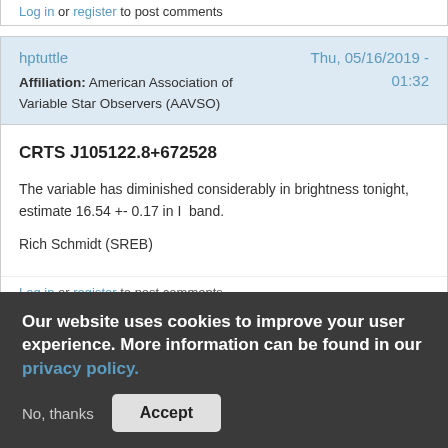Log in or register to post comments
hptuttle
Affiliation: American Association of Variable Star Observers (AAVSO)
Thu, 05/16/2019 - 01:32
CRTS J105122.8+672528
The variable has diminished considerably in brightness tonight, estimate 16.54 +- 0.17 in I  band.
Rich Schmidt (SREB)
Log in or register to post comments
Our website uses cookies to improve your user experience. More information can be found in our privacy policy.